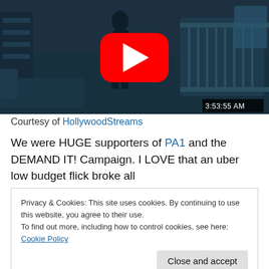[Figure (screenshot): Night-vision security camera footage of a room with a crib, showing a dark figure. A YouTube play button overlay is visible in the center. Timestamp '3:53:55 AM' is shown in the bottom right corner.]
Courtesy of HollywoodStreams
We were HUGE supporters of PA1 and the DEMAND IT! Campaign. I LOVE that an uber low budget flick broke all
Privacy & Cookies: This site uses cookies. By continuing to use this website, you agree to their use.
To find out more, including how to control cookies, see here: Cookie Policy
[Close and accept]
grossing $107.9 million domestically and $84.8 million